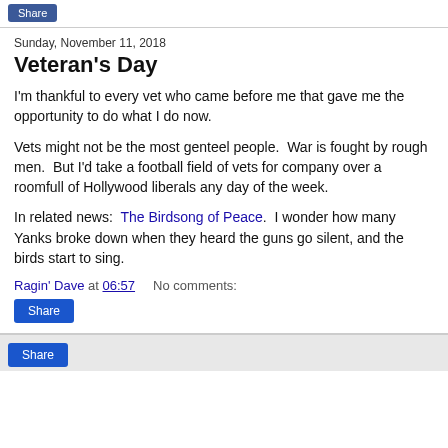Share
Sunday, November 11, 2018
Veteran's Day
I'm thankful to every vet who came before me that gave me the opportunity to do what I do now.
Vets might not be the most genteel people.  War is fought by rough men.  But I'd take a football field of vets for company over a roomfull of Hollywood liberals any day of the week.
In related news:  The Birdsong of Peace.  I wonder how many Yanks broke down when they heard the guns go silent, and the birds start to sing.
Ragin' Dave at 06:57    No comments:
Share